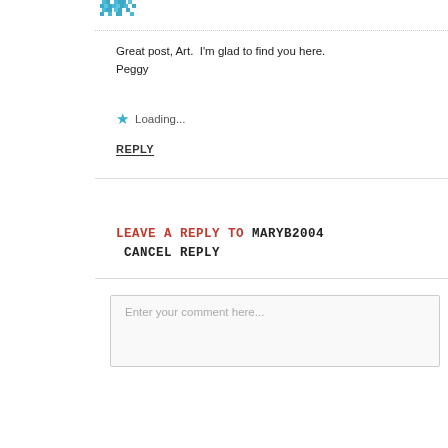[Figure (illustration): Small pixelated avatar/logo in teal/blue colors at top left area]
Great post, Art.  I'm glad to find you here.
Peggy
★ Loading...
REPLY
LEAVE A REPLY TO MARYB2004 CANCEL REPLY
Enter your comment here...